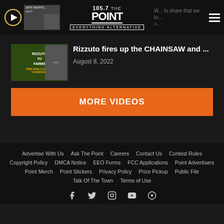105.7 The Point - Everything Alternative
We... to share that we lo... A...
[Figure (screenshot): Thumbnail image of video with person and chainsaw-related content. Green background with RIZZUTO FARMS text.]
Rizzuto fires up the CHAINSAW and ...
August 8, 2022
MORE VIDEOS
Advertise With Us | Ask The Point | Careers | Contact Us | Contest Rules | Copyright Policy | DMCA Notice | EEO Forms | FCC Applications | Point Advertisers | Point Merch | Point Stickers | Privacy Policy | Prize Pickup | Public File | Talk Of The Town | Terms of Use